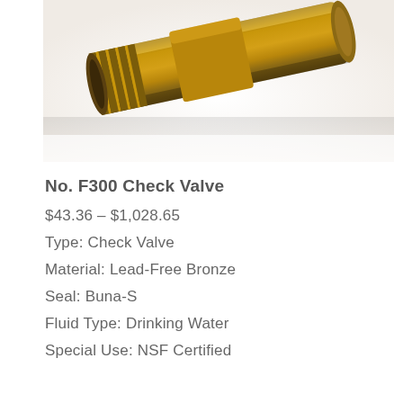[Figure (photo): Close-up photograph of a brass/bronze check valve fitting with threaded end, shown against a white background. The valve is golden-brown in color with visible threading on one end.]
No. F300 Check Valve
$43.36 – $1,028.65
Type: Check Valve
Material: Lead-Free Bronze
Seal: Buna-S
Fluid Type: Drinking Water
Special Use: NSF Certified